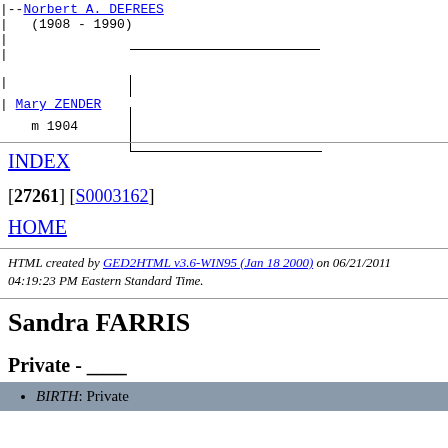[Figure (other): Genealogy tree showing Norbert A. DEFREES (1908-1990) connected to Mary ZENDER married 1904, with branch lines]
INDEX
[27261] [S0003162]
HOME
HTML created by GED2HTML v3.6-WIN95 (Jan 18 2000) on 06/21/2011 04:19:23 PM Eastern Standard Time.
Sandra FARRIS
Private - ____
BIRTH: Private